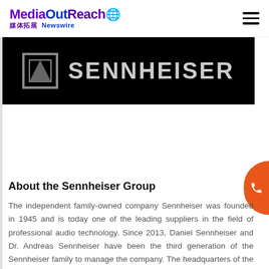MediaOutReach 媒体拓展 Newswire
[Figure (logo): Sennheiser brand logo on black background — stylized box icon and SENNHEISER text in grey on black]
About the Sennheiser Group
The independent family-owned company Sennheiser was founded in 1945 and is today one of the leading suppliers in the field of professional audio technology. Since 2013, Daniel Sennheiser and Dr. Andreas Sennheiser have been the third generation of the Sennheiser family to manage the company. The headquarters of the Sennheiser Group is located in Wennebostel in Wedemark near